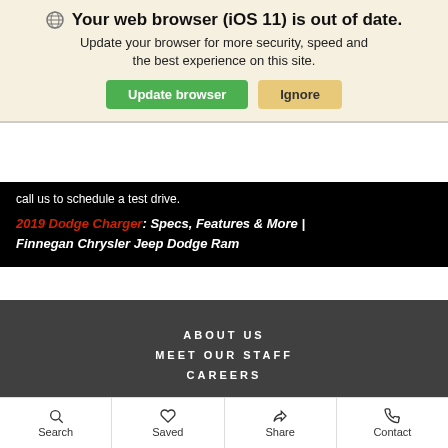Your web browser (iOS 11) is out of date. Update your browser for more security, speed and the best experience on this site.
call us to schedule a test drive.
2019 Dodge Charger: Specs, Features & More | Finnegan Chrysler Jeep Dodge Ram
ABOUT US
MEET OUR STAFF
CAREERS
Contact Us • Sitemap • Privacy Policy
Copyright © 2022 Finnegan Chrysler Jeep Dodge Ram
Advanced Automotive Dealer Websites by Dealer Inspire
Search   Saved   Share   Contact